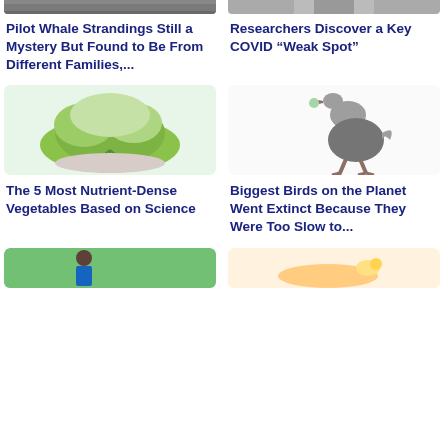[Figure (photo): Partial top image of pilot whale stranding scene]
[Figure (photo): Partial top image related to COVID research, possibly microscope image]
Pilot Whale Strandings Still a Mystery But Found to Be From Different Families,...
Researchers Discover a Key COVID “Weak Spot”
[Figure (photo): Bowl of fresh green watercress vegetables]
[Figure (photo): Illustration of a large extinct bird (moa or similar)]
The 5 Most Nutrient-Dense Vegetables Based on Science
Biggest Birds on the Planet Went Extinct Because They Were Too Slow to...
[Figure (photo): Partial bottom image, man outdoors in green setting]
[Figure (photo): Partial bottom image showing hands with small object]